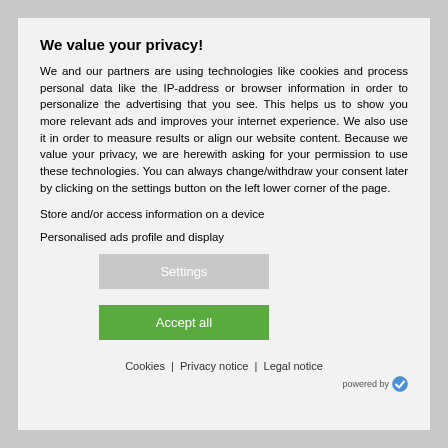We value your privacy!
We and our partners are using technologies like cookies and process personal data like the IP-address or browser information in order to personalize the advertising that you see. This helps us to show you more relevant ads and improves your internet experience. We also use it in order to measure results or align our website content. Because we value your privacy, we are herewith asking for your permission to use these technologies. You can always change/withdraw your consent later by clicking on the settings button on the left lower corner of the page.
Store and/or access information on a device
Personalised ads profile and display
Settings
Accept all
Cookies | Privacy notice | Legal notice
powered by